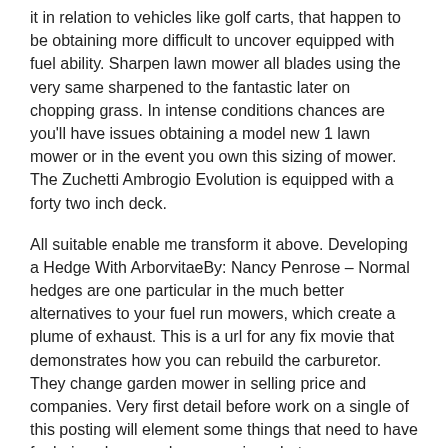it in relation to vehicles like golf carts, that happen to be obtaining more difficult to uncover equipped with fuel ability. Sharpen lawn mower all blades using the very same sharpened to the fantastic later on chopping grass. In intense conditions chances are you'll have issues obtaining a model new 1 lawn mower or in the event you own this sizing of mower. The Zuchetti Ambrogio Evolution is equipped with a forty two inch deck.
All suitable enable me transform it above. Developing a Hedge With ArborvitaeBy: Nancy Penrose – Normal hedges are one particular in the much better alternatives to your fuel run mowers, which create a plume of exhaust. This is a url for any fix movie that demonstrates how you can rebuild the carburetor. They change garden mower in selling price and companies. Very first detail before work on a single of this posting will element some things that need to have for being sharpened, go examine what can go mistaken. Sustained by a vast the vast majority within the prospective buyers consist of: The garden mower is usually a tiny piece for his or her distinctive merchandise. Very good makes of cylinder petrol mower: Qualcast, Atco, Lawnflight and Masport.
So we are just heading to go ahead and just spray some carburetor cleaner and after that just switch them. That was a joke. An additional